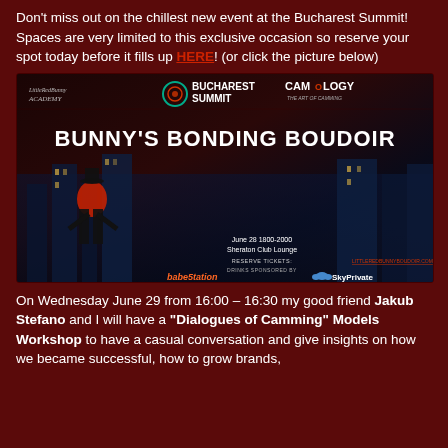Don't miss out on the chillest new event at the Bucharest Summit! Spaces are very limited to this exclusive occasion so reserve your spot today before it fills up HERE! (or click the picture below)
[Figure (illustration): Promotional banner for Bunny's Bonding Boudoir event at the Bucharest Summit, featuring LittleRedBunny Academy and CamOlogy logos, silhouette art, event details including June 28 1800-2000 at Sheraton Club Lounge, drinks sponsored by Babestation and SkyPrivate.]
On Wednesday June 29 from 16:00 – 16:30 my good friend Jakub Stefano and I will have a "Dialogues of Camming" Models Workshop to have a casual conversation and give insights on how we became successful, how to grow brands,